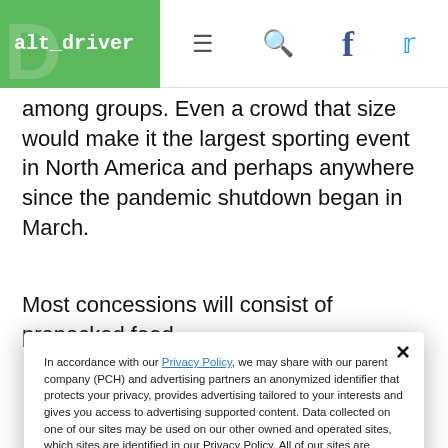alt_driver
among groups. Even a crowd that size would make it the largest sporting event in North America and perhaps anywhere since the pandemic shutdown began in March.
Most concessions will consist of prepacked food.
In accordance with our Privacy Policy, we may share with our parent company (PCH) and advertising partners an anonymized identifier that protects your privacy, provides advertising tailored to your interests and gives you access to advertising supported content. Data collected on one of our sites may be used on our other owned and operated sites, which sites are identified in our Privacy Policy. All of our sites are governed by the same Privacy Policy, and by proceeding to access this site, you are consenting to that Privacy Policy.